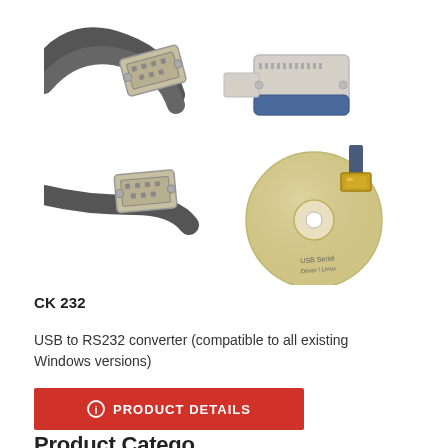[Figure (photo): Photo of USB to RS232 converter kit showing two D-sub serial connectors with cables, a parallel port adapter (gray/blue), a USB Type-A connector, and a CD-ROM driver disc labeled 'USB Serial Driver'.]
CK 232
USB to RS232 converter (compatible to all existing Windows versions)
PRODUCT DETAILS
Product Catego...